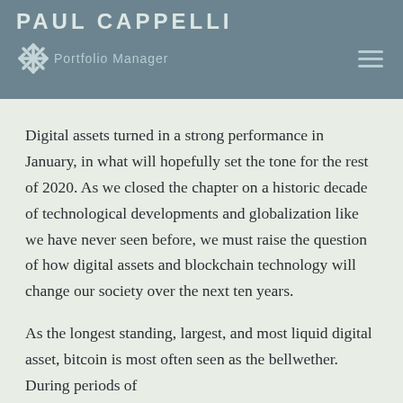PAUL CAPPELLI
Portfolio Manager
Digital assets turned in a strong performance in January, in what will hopefully set the tone for the rest of 2020. As we closed the chapter on a historic decade of technological developments and globalization like we have never seen before, we must raise the question of how digital assets and blockchain technology will change our society over the next ten years.
As the longest standing, largest, and most liquid digital asset, bitcoin is most often seen as the bellwether. During periods of